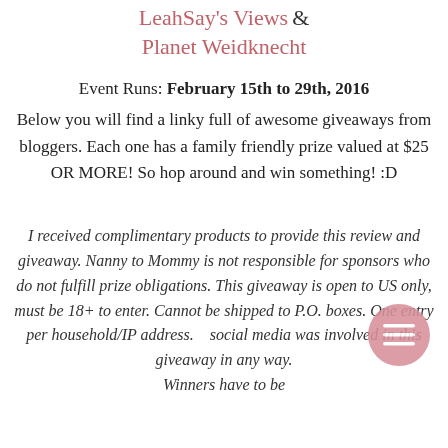LeahSay's Views & Planet Weidknecht
Event Runs: February 15th to 29th, 2016
Below you will find a linky full of awesome giveaways from bloggers. Each one has a family friendly prize valued at $25 OR MORE! So hop around and win something! :D
I received complimentary products to provide this review and giveaway. Nanny to Mommy is not responsible for sponsors who do not fulfill prize obligations. This giveaway is open to US only, must be 18+ to enter. Cannot be shipped to P.O. boxes. One entry per household/IP address. No social media was involved in this giveaway in any way. Winners have to be Rafflecopter verified...